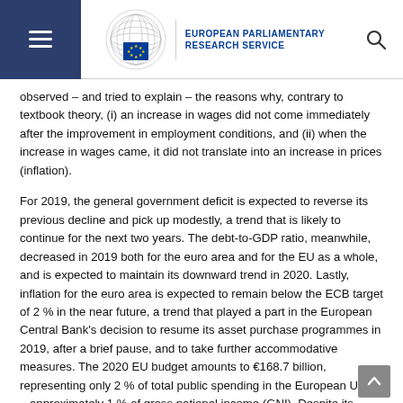EUROPEAN PARLIAMENTARY RESEARCH SERVICE
observed – and tried to explain – the reasons why, contrary to textbook theory, (i) an increase in wages did not come immediately after the improvement in employment conditions, and (ii) when the increase in wages came, it did not translate into an increase in prices (inflation).
For 2019, the general government deficit is expected to reverse its previous decline and pick up modestly, a trend that is likely to continue for the next two years. The debt-to-GDP ratio, meanwhile, decreased in 2019 both for the euro area and for the EU as a whole, and is expected to maintain its downward trend in 2020. Lastly, inflation for the euro area is expected to remain below the ECB target of 2 % in the near future, a trend that played a part in the European Central Bank's decision to resume its asset purchase programmes in 2019, after a brief pause, and to take further accommodative measures. The 2020 EU budget amounts to €168.7 billion, representing only 2 % of total public spending in the European Union – approximately 1 % of gross national income (GNI). Despite its volume, the overall impact of the EU budget is